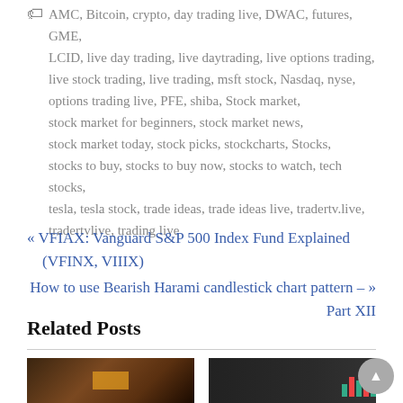AMC, Bitcoin, crypto, day trading live, DWAC, futures, GME, LCID, live day trading, live daytrading, live options trading, live stock trading, live trading, msft stock, Nasdaq, nyse, options trading live, PFE, shiba, Stock market, stock market for beginners, stock market news, stock market today, stock picks, stockcharts, Stocks, stocks to buy, stocks to buy now, stocks to watch, tech stocks, tesla, tesla stock, trade ideas, trade ideas live, tradertv.live, tradertvlive, trading live
« VFIAX: Vanguard S&P 500 Index Fund Explained (VFINX, VIIIX)
How to use Bearish Harami candlestick chart pattern – » Part XII
Related Posts
[Figure (photo): Thumbnail image of a related post, dark/warm toned financial video screenshot]
[Figure (screenshot): Thumbnail image of a related post, dark background with green/red bar chart visible at right side]